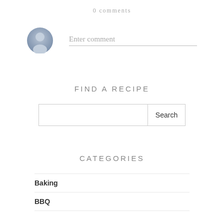0 comments
[Figure (illustration): Generic user avatar icon — a circular gradient blue-grey silhouette of a person]
Enter comment
FIND A RECIPE
Search
CATEGORIES
Baking
BBQ